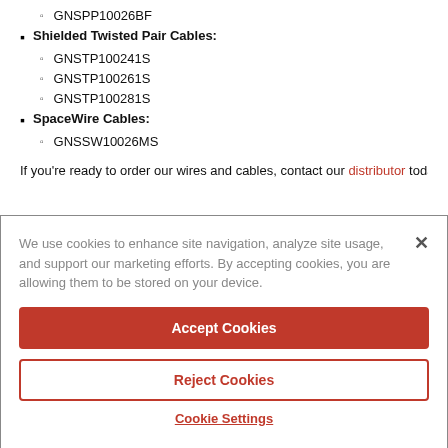GNSPP10026BF
Shielded Twisted Pair Cables:
GNSTP100241S
GNSTP100261S
GNSTP100281S
SpaceWire Cables:
GNSSW10026MS
If you're ready to order our wires and cables, contact our distributor today in the
We use cookies to enhance site navigation, analyze site usage, and support our marketing efforts. By accepting cookies, you are allowing them to be stored on your device.
Accept Cookies
Reject Cookies
Cookie Settings